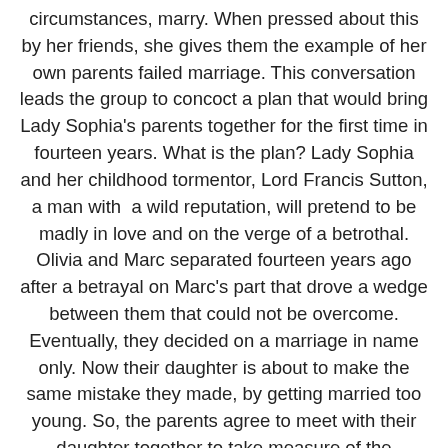circumstances, marry. When pressed about this by her friends, she gives them the example of her own parents failed marriage. This conversation leads the group to concoct a plan that would bring Lady Sophia's parents together for the first time in fourteen years. What is the plan? Lady Sophia and her childhood tormentor, Lord Francis Sutton, a man with  a wild reputation, will pretend to be madly in love and on the verge of a betrothal. Olivia and Marc separated fourteen years ago after a betrayal on Marc's part that drove a wedge between them that could not be overcome. Eventually, they decided on a marriage in name only. Now their daughter is about to make the same mistake they made, by getting married too young. So, the parents agree to meet with their daughter together to take measure of the situation. This is two love stories in one. The light, fun and silly young couple and the more mature couple dealing with pain and heartbreak. Will Sophia's plan work? A classic regency romance. The young couple are getting themselves deeper and deeper into the pretend relationship until they begin to feel trapped into actually going through with a wedding. In the meantime, Olivia and Marc find they are still attracted to each other and are still in love, but after fourteen